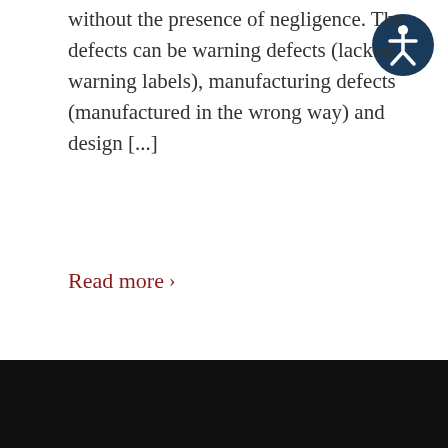without the presence of negligence. The defects can be warning defects (lacked warning labels), manufacturing defects (manufactured in the wrong way) and design [...]
[Figure (illustration): Accessibility icon: dark blue circle with white stick-figure person symbol]
Read more ›
‹ 1 2 3 4 5 › »   Page 3 of 43